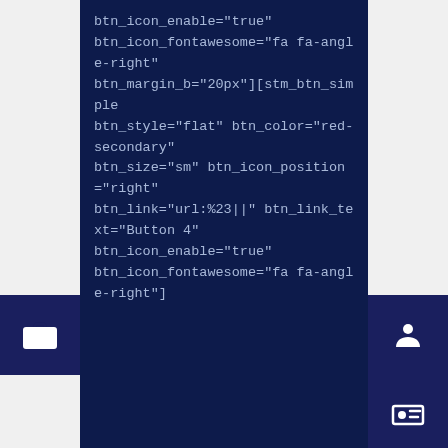[Figure (screenshot): Dark navy blue code block showing shortcode attributes: btn_icon_enable="true" btn_icon_fontawesome="fa fa-angle-right" btn_margin_b="20px"][stm_btn_simple btn_style="flat" btn_color="red-secondary" btn_size="sm" btn_icon_position="right" btn_link="url:%23||" btn_link_text="Button 4" btn_icon_enable="true" btn_icon_fontawesome="fa fa-angle-right"]]
[stm_btn_simple btn_icon_position="right" btn_alignment="center" btn_link="url:%23||" btn_link_text="Big Button 5" btn_icon_enable="true" btn_icon_fontawesome="fa fa-angle-right"